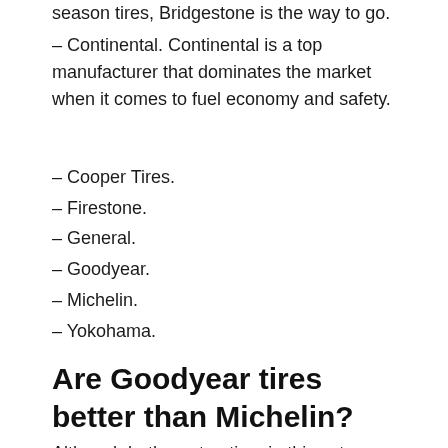season tires, Bridgestone is the way to go.
– Continental. Continental is a top manufacturer that dominates the market when it comes to fuel economy and safety.
– Cooper Tires.
– Firestone.
– General.
– Goodyear.
– Michelin.
– Yokohama.
Are Goodyear tires better than Michelin?
Although both are top tires in this category, the reason we have selected Goodyear is that its performance is equally exceptional in bad weather conditions. While Michelin